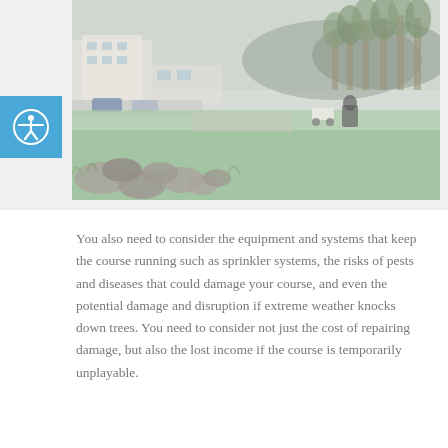[Figure (photo): Aerial or elevated view of a golf course showing manicured green fairway, rocky landscaping in the foreground, modern club house buildings on the left, trees in the background, and a golf cart on the course. The image has a slightly washed-out/faded appearance.]
You also need to consider the equipment and systems that keep the course running such as sprinkler systems, the risks of pests and diseases that could damage your course, and even the potential damage and disruption if extreme weather knocks down trees. You need to consider not just the cost of repairing damage, but also the lost income if the course is temporarily unplayable.